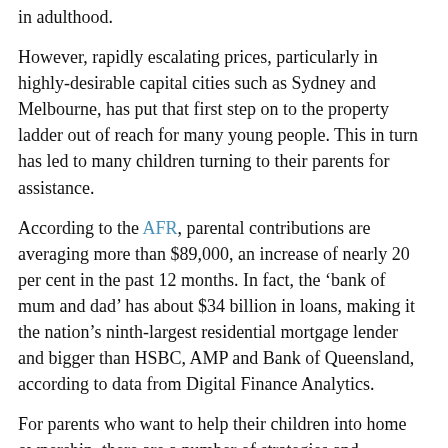in adulthood.
However, rapidly escalating prices, particularly in highly-desirable capital cities such as Sydney and Melbourne, has put that first step on to the property ladder out of reach for many young people. This in turn has led to many children turning to their parents for assistance.
According to the AFR, parental contributions are averaging more than $89,000, an increase of nearly 20 per cent in the past 12 months. In fact, the ‘bank of mum and dad’ has about $34 billion in loans, making it the nation’s ninth-largest residential mortgage lender and bigger than HSBC, AMP and Bank of Queensland, according to data from Digital Finance Analytics.
For parents who want to help their children into home ownership, there are a number of strategies and pathways to consider.